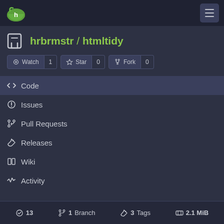Gitea navigation bar with logo and hamburger menu
hrbrmstr / htmltidy
Watch 1   Star 0   Fork 0
Code
Issues
Pull Requests
Releases
Wiki
Activity
13   1 Branch   3 Tags   2.1 MiB